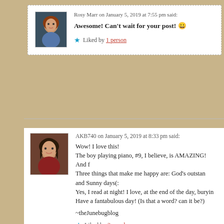Rosy Marr on January 5, 2019 at 7:55 pm said:
Awesome! Can't wait for your post! 😀
Liked by 1 person
AKB740 on January 5, 2019 at 8:33 pm said:
Wow! I love this!
The boy playing piano, #9, I believe, is AMAZING! And f
Three things that make me happy are: God's outstan
and Sunny days(:
Yes, I read at night! I love, at the end of the day, buryin
Have a fantabulous day! (Is that a word? can it be?)
~theJunebugblog
Liked by 3 people